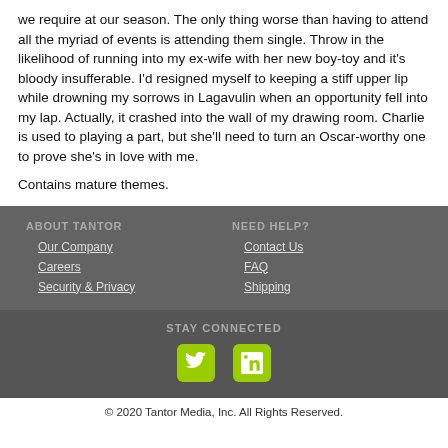we require at our season. The only thing worse than having to attend all the myriad of events is attending them single. Throw in the likelihood of running into my ex-wife with her new boy-toy and it's bloody insufferable. I'd resigned myself to keeping a stiff upper lip while drowning my sorrows in Lagavulin when an opportunity fell into my lap. Actually, it crashed into the wall of my drawing room. Charlie is used to playing a part, but she'll need to turn an Oscar-worthy one to prove she's in love with me.
Contains mature themes.
ABOUT TANTOR
Our Company
Careers
Security & Privacy
NEED HELP?
Contact Us
FAQ
Shipping
STAY CONNECTED
[Figure (logo): Twitter and LinkedIn social media icons in green/yellow square buttons]
© 2020 Tantor Media, Inc. All Rights Reserved.